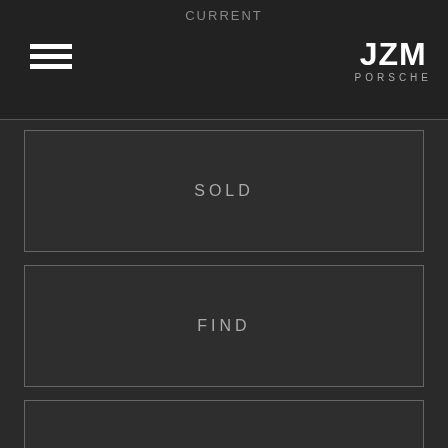CURRENT
[Figure (logo): JZM PORSCHE logo — bold white JZM text above thin-spaced grey PORSCHE text]
SOLD
FIND
SELL